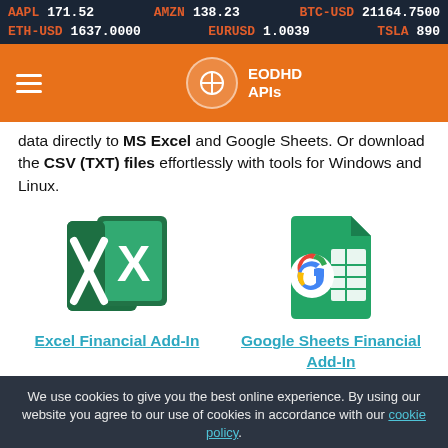AAPL 171.52   AMZN 138.23   BTC-USD 21164.7500   ETH-USD 1637.0000   EURUSD 1.0039   TSLA 890
[Figure (logo): EODHD APIs orange navigation bar with hamburger menu and logo]
data directly to MS Excel and Google Sheets. Or download the CSV (TXT) files effortlessly with tools for Windows and Linux.
[Figure (logo): Microsoft Excel app icon - green X logo]
Excel Financial Add-In
[Figure (logo): Google Sheets app icon - green spreadsheet logo]
Google Sheets Financial Add-In
We use cookies to give you the best online experience. By using our website you agree to our use of cookies in accordance with our cookie policy.
OK